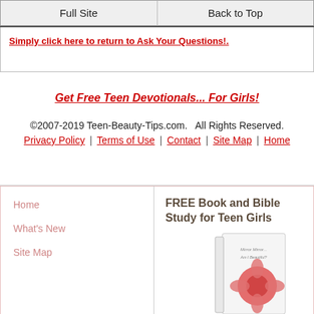Full Site | Back to Top
Simply click here to return to Ask Your Questions!.
Get Free Teen Devotionals... For Girls!
©2007-2019 Teen-Beauty-Tips.com.  All Rights Reserved.
Privacy Policy | Terms of Use | Contact | Site Map | Home
Home
What's New
Site Map
FREE Book and Bible Study for Teen Girls